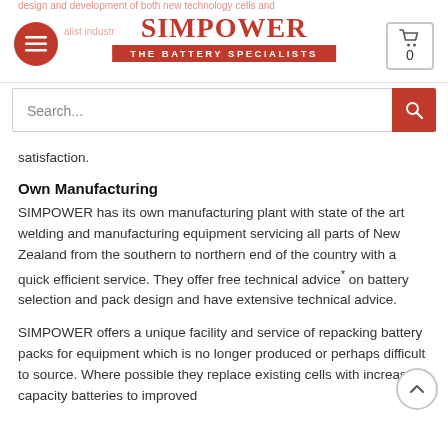SIMPOWER — THE BATTERY SPECIALISTS
satisfaction.
Own Manufacturing
SIMPOWER has its own manufacturing plant with state of the art welding and manufacturing equipment servicing all parts of New Zealand from the southern to northern end of the country with a quick efficient service. They offer free technical advice* on battery selection and pack design and have extensive technical advice.
SIMPOWER offers a unique facility and service of repacking battery packs for equipment which is no longer produced or perhaps difficult to source. Where possible they replace existing cells with increased capacity batteries to improved